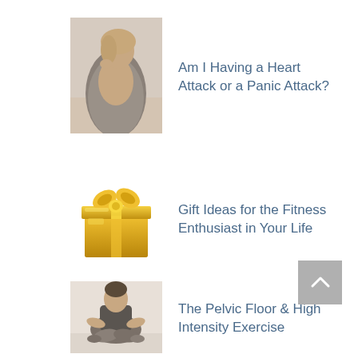[Figure (photo): Woman sitting thoughtfully, leaning on her hand, photographic portrait]
Am I Having a Heart Attack or a Panic Attack?
[Figure (illustration): Gold wrapped gift box with bow emoji]
Gift Ideas for the Fitness Enthusiast in Your Life
[Figure (photo): Woman sitting cross-legged on the floor in workout clothes]
The Pelvic Floor & High Intensity Exercise